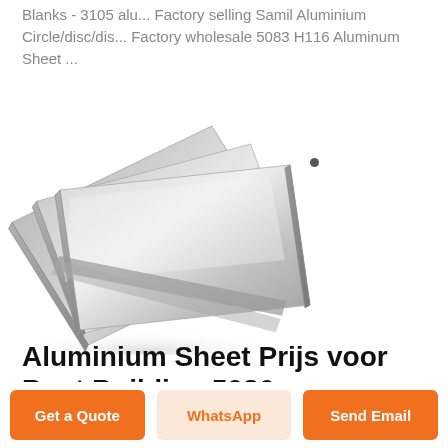Blanks - 3105 alu... Factory selling Samil Aluminium Circle/disc/dis... Factory wholesale 5083 H116 Aluminum Sheet ...
[Figure (photo): Stack of aluminum sheets/plates fanned out, showing metallic silver surface with brushed finish, on white background. A small dark dot is visible to the upper right of the stack.]
Aluminium Sheet Prijs voor Boat Building 5086 H116/H321CCS .
Get a Quote
WhatsApp
Send Email